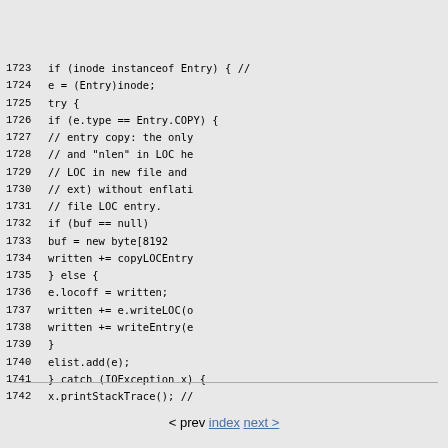1723    if (inode instanceof Entry) {    //
1724        e = (Entry)inode;
1725        try {
1726            if (e.type == Entry.COPY) {
1727                // entry copy: the only
1728                // and "nlen" in LOC he
1729                // LOC in new file and
1730                // ext) without enflati
1731                // file LOC entry.
1732                if (buf == null)
1733                    buf = new byte[8192
1734                written += copyLOCEntry
1735            } else {
1736                e.locoff = written;
1737                written += e.writeLOC(o
1738                written += writeEntry(e
1739            }
1740            elist.add(e);
1741        } catch (IOException x) {
1742            x.printStackTrace();    //
< prev index next >